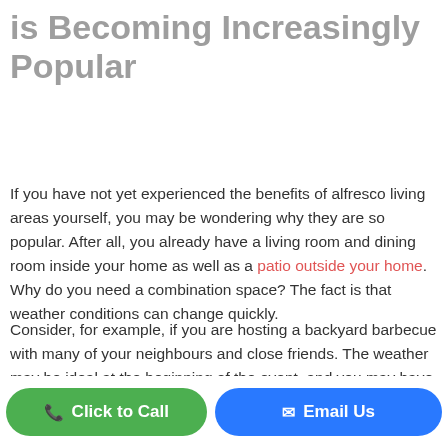Why the Alfresco Lifestyle is Becoming Increasingly Popular
If you have not yet experienced the benefits of alfresco living areas yourself, you may be wondering why they are so popular. After all, you already have a living room and dining room inside your home as well as a patio outside your home. Why do you need a combination space? The fact is that weather conditions can change quickly.
Consider, for example, if you are hosting a backyard barbecue with many of your neighbours and close friends. The weather may be ideal at the beginning of the event, and you may have ...ors. However, a passing storm or other sudden weather
Click to Call
Email Us